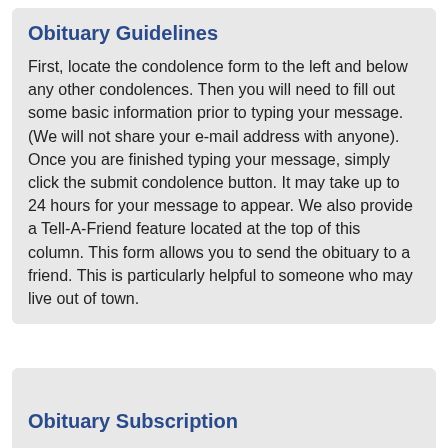Obituary Guidelines
First, locate the condolence form to the left and below any other condolences. Then you will need to fill out some basic information prior to typing your message. (We will not share your e-mail address with anyone). Once you are finished typing your message, simply click the submit condolence button. It may take up to 24 hours for your message to appear. We also provide a Tell-A-Friend feature located at the top of this column. This form allows you to send the obituary to a friend. This is particularly helpful to someone who may live out of town.
Obituary Subscription